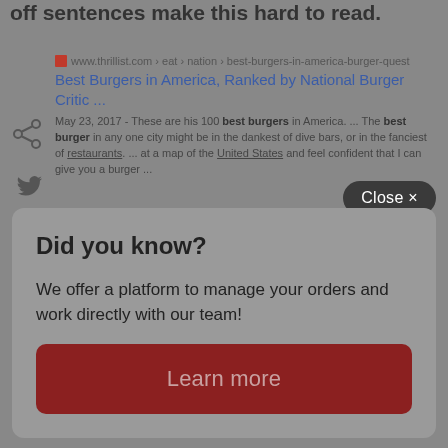off sentences make this hard to read.
[Figure (screenshot): Google search result for Best Burgers in America article on thrillist.com, showing URL, title, and snippet with bold keywords]
[Figure (other): Share icon (network share symbol)]
[Figure (other): Twitter bird icon]
Close ×
Did you know?
We offer a platform to manage your orders and work directly with our team!
Learn more